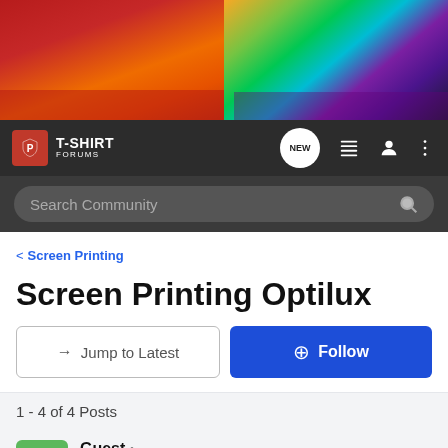[Figure (photo): Banner image showing screen printing process with colorful inks being applied — left half shows red ink on screen, right half shows multicolored inks (yellow, green, purple, blue) dripping from a squeegee.]
[Figure (logo): T-Shirt Forums logo in navigation bar — red shield badge with 'P' icon beside bold white 'T-SHIRT' text and 'FORUMS' subtitle.]
Search Community
< Screen Printing
Screen Printing Optilux
→ Jump to Latest
+ Follow
1 - 4 of 4 Posts
Guest ·